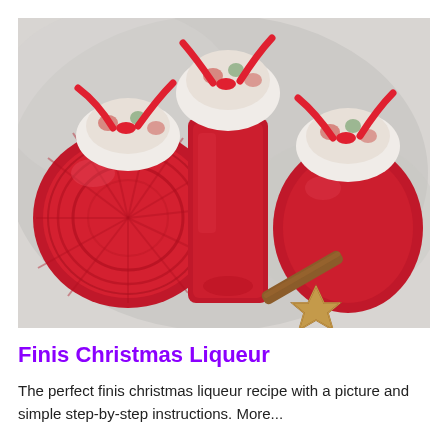[Figure (photo): Three decorative glass bottles filled with red Christmas liqueur, each topped with festive fabric and red ribbon. A round flat bottle on the left, a tall rectangular bottle in the center, and a shorter round bottle on the right. A cinnamon stick and star-shaped cookie are placed in front.]
Finis Christmas Liqueur
The perfect finis christmas liqueur recipe with a picture and simple step-by-step instructions. More...